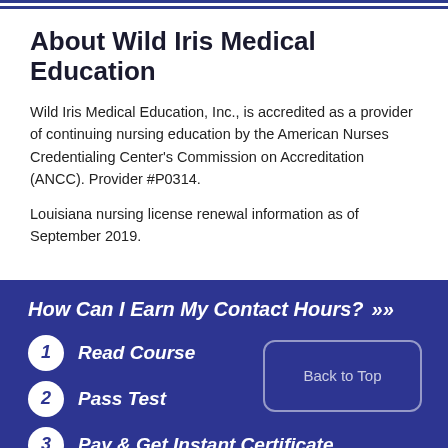About Wild Iris Medical Education
Wild Iris Medical Education, Inc., is accredited as a provider of continuing nursing education by the American Nurses Credentialing Center's Commission on Accreditation (ANCC). Provider #P0314.
Louisiana nursing license renewal information as of September 2019.
How Can I Earn My Contact Hours?
1 Read Course
2 Pass Test
3 Pay & Get Instant Certificate